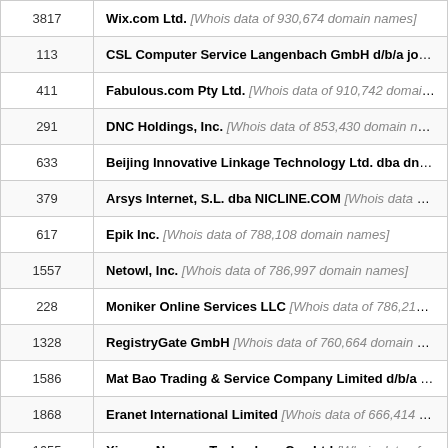| ID | Registrar |
| --- | --- |
| 3817 | Wix.com Ltd. [Whois data of 930,674 domain names] |
| 113 | CSL Computer Service Langenbach GmbH d/b/a joker.com [Whois da... |
| 411 | Fabulous.com Pty Ltd. [Whois data of 910,742 domain names] |
| 291 | DNC Holdings, Inc. [Whois data of 853,430 domain names] |
| 633 | Beijing Innovative Linkage Technology Ltd. dba dns.com.cn [Whois da... |
| 379 | Arsys Internet, S.L. dba NICLINE.COM [Whois data of 811,358 domain n... |
| 617 | Epik Inc. [Whois data of 788,108 domain names] |
| 1557 | Netowl, Inc. [Whois data of 786,997 domain names] |
| 228 | Moniker Online Services LLC [Whois data of 786,216 domain names] |
| 1328 | RegistryGate GmbH [Whois data of 760,664 domain names] |
| 1586 | Mat Bao Trading & Service Company Limited d/b/a Mat Bao [Whois da... |
| 1868 | Eranet International Limited [Whois data of 666,414 domain names] |
| 1655 | Xiamen Nawang Technology Co., Ltd [Whois data of 646,372 domain na... |
| 463 | Regional Network Information Center, JSC dba RU-CENTER [Whois da... |